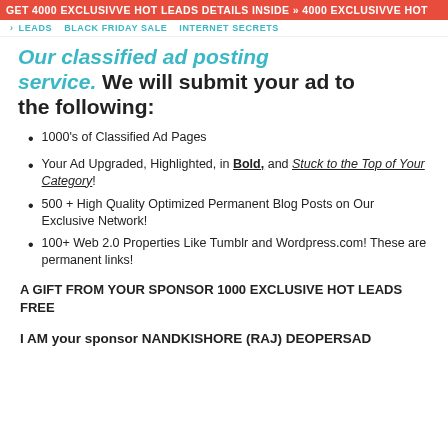GET 4000 EXCLUSIVVE HOT LEADS DETAILS INSIDE » 4000 EXCLUSIVVE HOT
LEADS   BLACK FRIDAY SALE   INTERNET SECRETS
Our classified ad posting service. We will submit your ad to the following:
1000's of Classified Ad Pages
Your Ad Upgraded, Highlighted, in Bold, and Stuck to the Top of Your Category!
500 + High Quality Optimized Permanent Blog Posts on Our Exclusive Network!
100+ Web 2.0 Properties Like Tumblr and Wordpress.com! These are permanent links!
A GIFT FROM YOUR SPONSOR 1000 EXCLUSIVE HOT LEADS FREE
I AM your sponsor NANDKISHORE (RAJ) DEOPERSAD